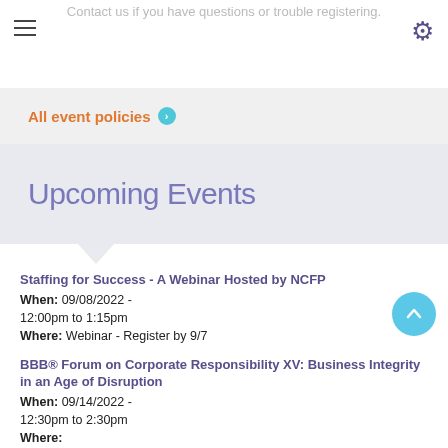Contact us if you have questions or trouble registering.
All event policies ➔
Upcoming Events
Staffing for Success - A Webinar Hosted by NCFP
When: 09/08/2022 - 12:00pm to 1:15pm
Where: Webinar - Register by 9/7
BBB® Forum on Corporate Responsibility XV: Business Integrity in an Age of Disruption
When: 09/14/2022 - 12:30pm to 2:30pm
Where:
Applying Diversity, Equity and Inclusion to Child and Family Services Research: Implications for the Federal